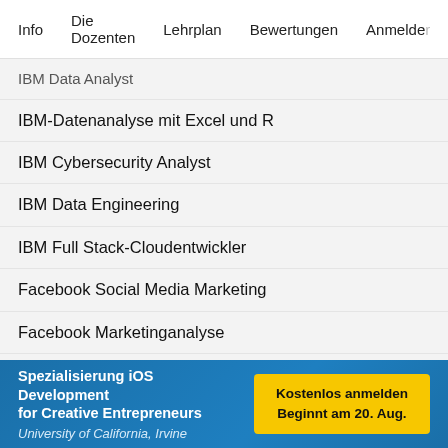Info   Die Dozenten   Lehrplan   Bewertungen   Anmelden
IBM Data Analyst
IBM-Datenanalyse mit Excel und R
IBM Cybersecurity Analyst
IBM Data Engineering
IBM Full Stack-Cloudentwickler
Facebook Social Media Marketing
Facebook Marketinganalyse
Salesforce Sales Development Representative
Sales Operations in Salesforce
Buchhaltung mit Intuit
Vorbereitung auf die Google Cloud-Zertifizierung: Cloud
Spezialisierung iOS Development for Creative Entrepreneurs
University of California, Irvine
Kostenlos anmelden
Beginnt am 20. Aug.